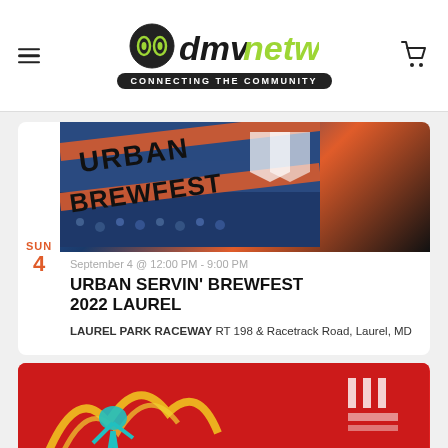dmvnetwork — CONNECTING THE COMMUNITY
[Figure (photo): Urban Servin' Brewfest promotional photo showing outdoor festival crowd with orange and black event signage]
September 4 @ 12:00 PM - 9:00 PM
URBAN SERVIN' BREWFEST 2022 LAUREL
LAUREL PARK RACEWAY RT 198 & Racetrack Road, Laurel, MD
[Figure (photo): Partially visible red event promotional banner, bottom of page]